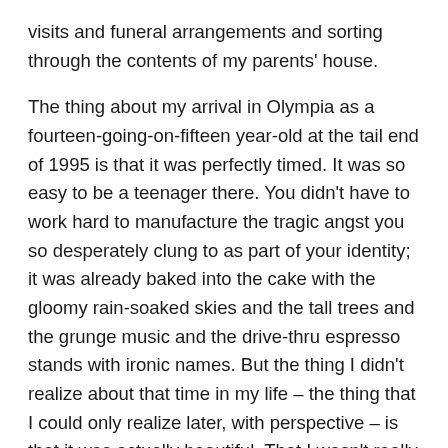visits and funeral arrangements and sorting through the contents of my parents' house.
The thing about my arrival in Olympia as a fourteen-going-on-fifteen year-old at the tail end of 1995 is that it was perfectly timed. It was so easy to be a teenager there. You didn't have to work hard to manufacture the tragic angst you so desperately clung to as part of your identity; it was already baked into the cake with the gloomy rain-soaked skies and the tall trees and the grunge music and the drive-thru espresso stands with ironic names. But the thing I didn't realize about that time in my life – the thing that I could only realize later, with perspective – is that it was actually beautiful. That I wasn't really as dark or as moody or as tragic as I pretended to be, that I was only playing at it. It wouldn't be until much later, when I was touched by